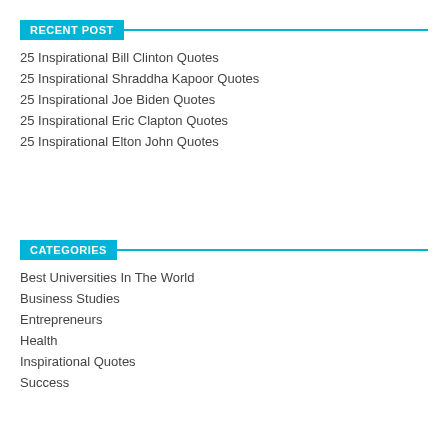RECENT POST
25 Inspirational Bill Clinton Quotes
25 Inspirational Shraddha Kapoor Quotes
25 Inspirational Joe Biden Quotes
25 Inspirational Eric Clapton Quotes
25 Inspirational Elton John Quotes
CATEGORIES
Best Universities In The World
Business Studies
Entrepreneurs
Health
Inspirational Quotes
Success